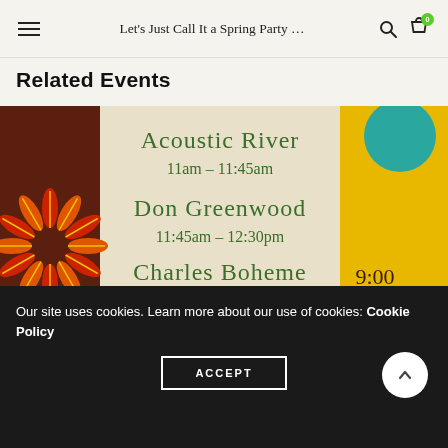Let's Just Call It a Spring Party ...
Related Events
[Figure (illustration): Event flyer showing performers: Acoustic River 11am - 11:45am, Don Greenwood 11:45am - 12:30pm, Charles Boheme & Friends 12:30pm - 1:30pm, with decorative sun/flower motif in dark brown and yellow sections]
Our site uses cookies. Learn more about our use of cookies: Cookie Policy
ACCEPT